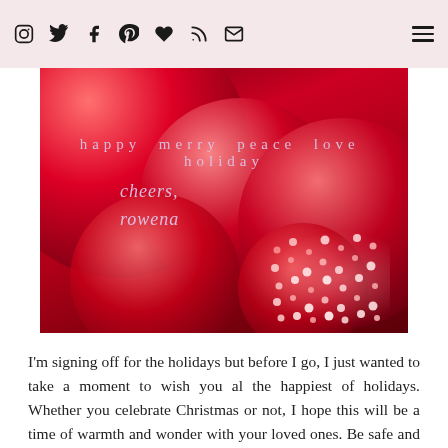Social media icons: Instagram, Twitter, Facebook, Pinterest, Heart/Bloglovin, RSS, Email | Hamburger menu
[Figure (photo): Red Christmas ornaments with bokeh sparkle lights in the lower right corner. Text overlay reads: 'happy merry peace love holiday' and below in italic script 'cheers, rowena']
I'm signing off for the holidays but before I go, I just wanted to take a moment to wish you al the happiest of holidays. Whether you celebrate Christmas or not, I hope this will be a time of warmth and wonder with your loved ones. Be safe and happy